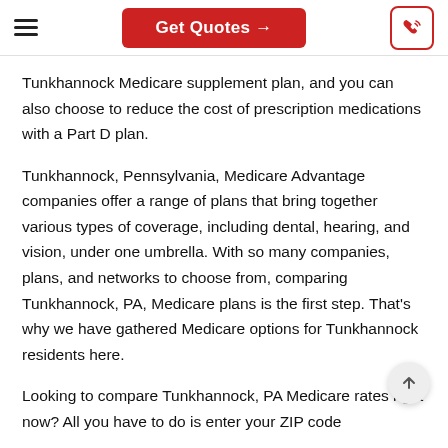Get Quotes →
Tunkhannock Medicare supplement plan, and you can also choose to reduce the cost of prescription medications with a Part D plan.
Tunkhannock, Pennsylvania, Medicare Advantage companies offer a range of plans that bring together various types of coverage, including dental, hearing, and vision, under one umbrella. With so many companies, plans, and networks to choose from, comparing Tunkhannock, PA, Medicare plans is the first step. That's why we have gathered Medicare options for Tunkhannock residents here.
Looking to compare Tunkhannock, PA Medicare rates right now? All you have to do is enter your ZIP code